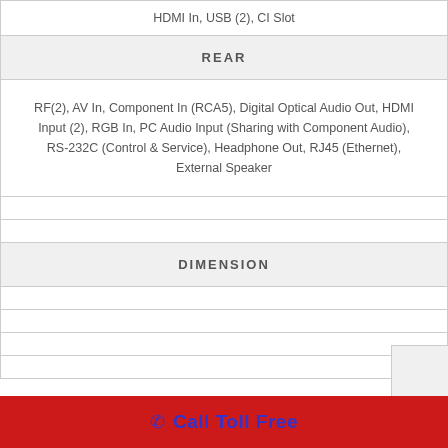| HDMI In, USB (2), CI Slot |
| REAR |
| RF(2), AV In, Component In (RCA5), Digital Optical Audio Out, HDMI Input (2), RGB In, PC Audio Input (Sharing with Component Audio), RS-232C (Control & Service), Headphone Out, RJ45 (Ethernet), External Speaker |
|  |
|  |
| DIMENSION |
|  |
|  |
|  |
|  |
Call Toll Free